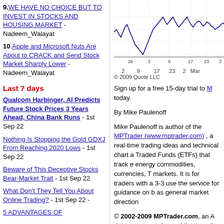9. WE HAVE NO CHOICE BUT TO INVEST IN STOCKS AND HOUSING MARKET - Nadeem_Walayat
10. Apple and Microsoft Nuts Are About to CRACK and Send Stock Market Sharply Lower - Nadeem_Walayat
Last 7 days
Qualcom Harbinger, AI Predicts Future Stock Prices 3 Years Ahead, China Bank Runs - 1st Sep 22
Nothing Is Stopping the Gold GDXJ From Reaching 2020 Lows - 1st Sep 22
Beware of This Deceptive Stocks Bear-Market Trait - 1st Sep 22
What Don't They Tell You About Online Trading? - 1st Sep 22 -
5 ADVANTAGES OF
[Figure (line-chart): Stock market line chart with dates 26, 2, 9, 17, 23, 2 Mar shown on x-axis, copyright 2009 Quote LLC]
26  2  9  17  23  2  Mar
© 2009 Quote LLC
Sign up for a free 15-day trial to M today.
By Mike Paulenoff
Mike Paulenoff is author of the MPTrader (www.mptrader.com), a real-time trading ideas and technical chart a Traded Funds (ETFs) that track e energy commodities, currencies, T markets. It is for traders with a 3-3 use the service for guidance on b as general market direction
© 2002-2009 MPTrader.com, an A rights reserved. Any publication, distr reproduction of information or data co without written consent from MPTrade disclaimer.